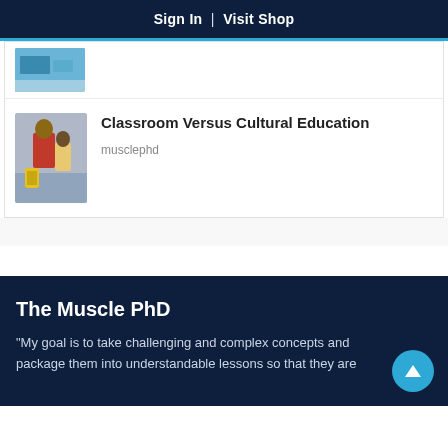Sign In  |  Visit Shop
[Figure (photo): Partially visible thumbnail image at top of card list]
Classroom Versus Cultural Education
musclephd
The Muscle PhD
“My goal is to take challenging and complex concepts and package them into understandable lessons so that they are accessible and relatable to everyone.”